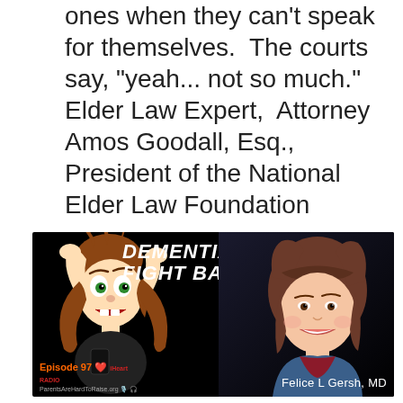ones when they can't speak for themselves.  The courts say, "yeah... not so much."   Elder Law Expert,  Attorney Amos Goodall, Esq., President of the National Elder Law Foundation
[Figure (illustration): Podcast banner for 'Dementia: Fight Back' episode 97 on iHeart Radio. Features a cartoon illustration of a distressed woman pulling her hair on the left, text in the center reading 'Do These 3 Things At Any Age to Punish Dementia', and an illustrated portrait of Felice L Gersh, MD on the right. Bottom shows Episode 97, iHeart Radio logo, ParentsAreHardToRaise.org website, and podcast icons.]